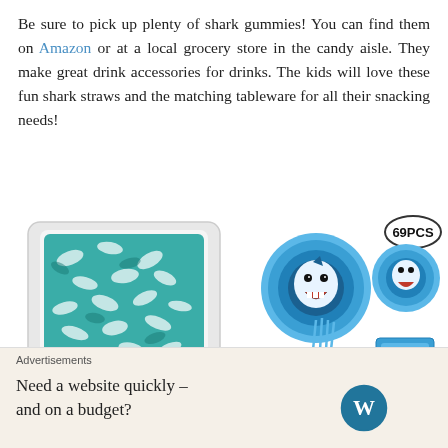Be sure to pick up plenty of shark gummies! You can find them on Amazon or at a local grocery store in the candy aisle. They make great drink accessories for drinks. The kids will love these fun shark straws and the matching tableware for all their snacking needs!
[Figure (photo): Bag of Ferrara Gummy Sharks candy with teal/white shark-shaped gummies visible through the packaging]
[Figure (photo): 69-piece shark-themed party tableware set showing plates, cups with straws, napkins, and decorations with shark designs. Label says 69PCS.]
Advertisements
Need a website quickly – and on a budget?